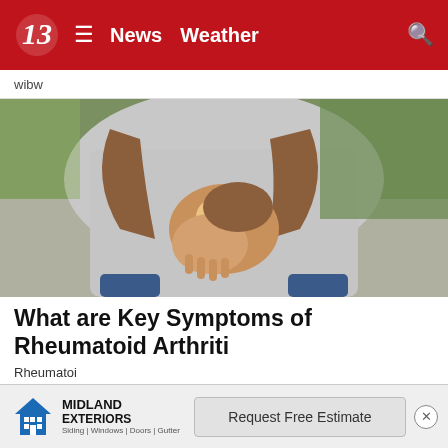News  Weather
wibw
[Figure (photo): Person holding their wrist/hand, suggesting joint pain associated with rheumatoid arthritis. The wrist area appears illuminated, indicating pain or inflammation.]
What are Key Symptoms of Rheumatoid Arthritis
Rheumatoi
[Figure (other): Advertisement banner for Midland Exteriors (Siding | Windows | Doors | Gutter) with a Request Free Estimate call-to-action button.]